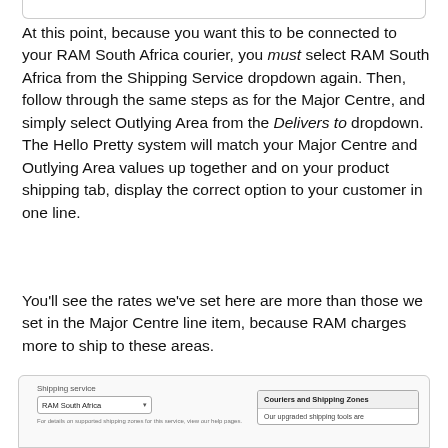At this point, because you want this to be connected to your RAM South Africa courier, you must select RAM South Africa from the Shipping Service dropdown again. Then, follow through the same steps as for the Major Centre, and simply select Outlying Area from the Delivers to dropdown. The Hello Pretty system will match your Major Centre and Outlying Area values up together and on your product shipping tab, display the correct option to your customer in one line.
You'll see the rates we've set here are more than those we set in the Major Centre line item, because RAM charges more to ship to these areas.
[Figure (screenshot): Screenshot of a shipping service configuration UI showing a 'Shipping service' label with a dropdown set to 'RAM South Africa', small helper text below, and a 'Couriers and Shipping Zones' panel on the right with text 'Our upgraded shipping tools are'. A yellow arrow/triangle is partially visible at the bottom center.]